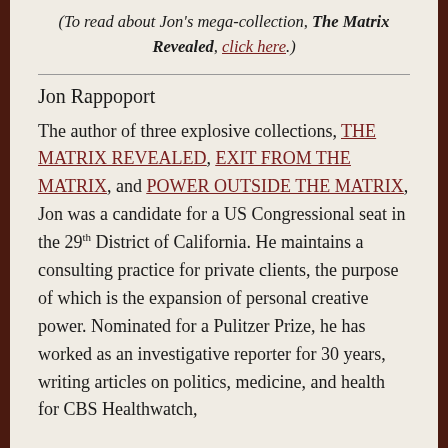(To read about Jon's mega-collection, The Matrix Revealed, click here.)
Jon Rappoport
The author of three explosive collections, THE MATRIX REVEALED, EXIT FROM THE MATRIX, and POWER OUTSIDE THE MATRIX, Jon was a candidate for a US Congressional seat in the 29th District of California. He maintains a consulting practice for private clients, the purpose of which is the expansion of personal creative power. Nominated for a Pulitzer Prize, he has worked as an investigative reporter for 30 years, writing articles on politics, medicine, and health for CBS Healthwatch,